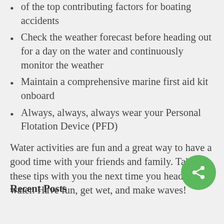of the top contributing factors for boating accidents
Check the weather forecast before heading out for a day on the water and continuously monitor the weather
Maintain a comprehensive marine first aid kit onboard
Always, always, always wear your Personal Flotation Device (PFD)
Water activities are fun and a great way to have a good time with your friends and family. Take these tips with you the next time you head for the water. Have fun, get wet, and make waves!
Recent Posts